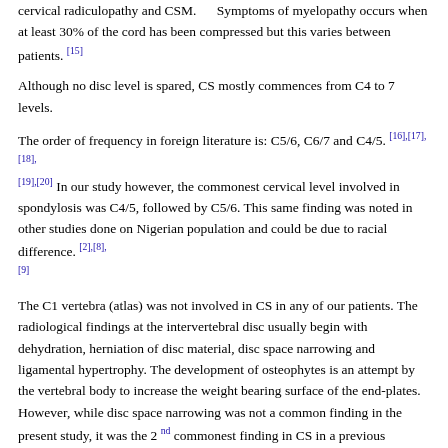cervical radiculopathy and CSM. Symptoms of myelopathy occurs when at least 30% of the cord has been compressed but this varies between patients. [15]
Although no disc level is spared, CS mostly commences from C4 to 7 levels.
The order of frequency in foreign literature is: C5/6, C6/7 and C4/5. [16],[17],[18],[19],[20] In our study however, the commonest cervical level involved in spondylosis was C4/5, followed by C5/6. This same finding was noted in other studies done on Nigerian population and could be due to racial difference. [2],[8],[9]
The C1 vertebra (atlas) was not involved in CS in any of our patients. The radiological findings at the intervertebral disc usually begin with dehydration, herniation of disc material, disc space narrowing and ligamental hypertrophy. The development of osteophytes is an attempt by the vertebral body to increase the weight bearing surface of the end-plates. However, while disc space narrowing was not a common finding in the present study, it was the 2nd commonest finding in CS in a previous report. [8] Multiple disc level affectation was however the norm. Degenerate listhesis and reversal of cervical spine curvature also occurred